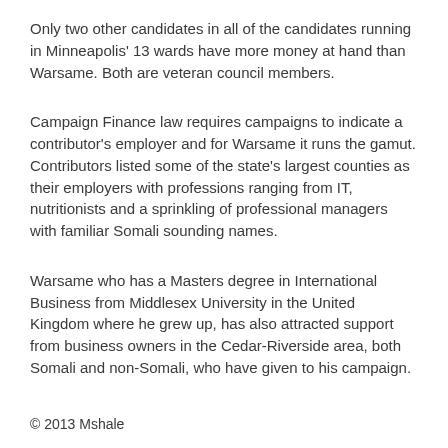Only two other candidates in all of the candidates running in Minneapolis' 13 wards have more money at hand than Warsame. Both are veteran council members.
Campaign Finance law requires campaigns to indicate a contributor's employer and for Warsame it runs the gamut. Contributors listed some of the state's largest counties as their employers with professions ranging from IT, nutritionists and a sprinkling of professional managers with familiar Somali sounding names.
Warsame who has a Masters degree in International Business from Middlesex University in the United Kingdom where he grew up, has also attracted support from business owners in the Cedar-Riverside area, both Somali and non-Somali, who have given to his campaign.
© 2013 Mshale